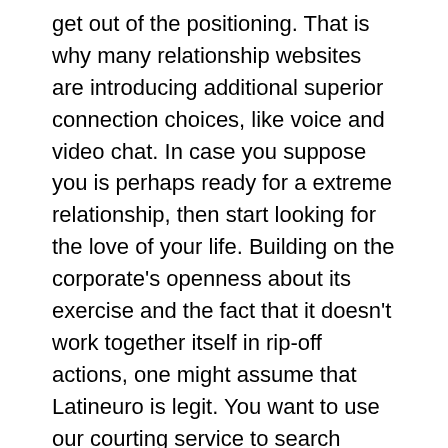get out of the positioning. That is why many relationship websites are introducing additional superior connection choices, like voice and video chat. In case you suppose you is perhaps ready for a extreme relationship, then start looking for the love of your life. Building on the corporate's openness about its exercise and the fact that it doesn't work together itself in rip-off actions, one might assume that Latineuro is legit. You want to use our courting service to search around by way of the a thousand's of personals and chat rooms to search out singles in search of marriage or of us looking for friendship or penpals. As on-line relationship has diversified, then, LatinEuro continues to attraction to daters by way of its historic previous of success. Some meddlesome algorithms have tried to play matchmaker by segregating